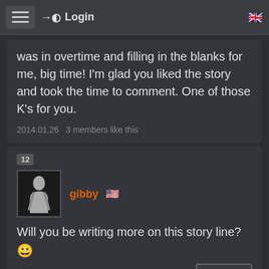Login
was in overtime and filling in the blanks for me, big time! I'm glad you liked the story and took the time to comment. One of those K's for you.
2014.01.26   3 members like this
12
gibby
Will you be writing more on this story line?
2014.01.30